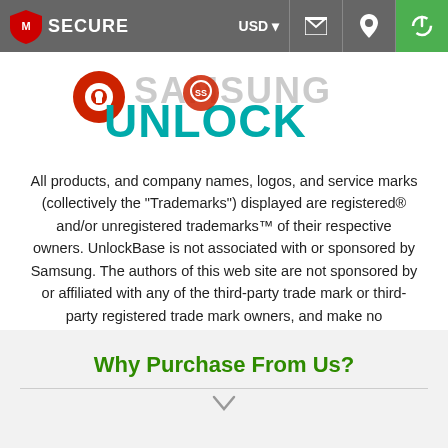McAfee SECURE | USD | mail | location | power
[Figure (logo): UnlockBase logo with a red padlock icon and SAMSUNG text overlay, showing UNLOCK in teal/green letters]
All products, and company names, logos, and service marks (collectively the "Trademarks") displayed are registered® and/or unregistered trademarks™ of their respective owners. UnlockBase is not associated with or sponsored by Samsung. The authors of this web site are not sponsored by or affiliated with any of the third-party trade mark or third-party registered trade mark owners, and make no representations about them, their owners, their products or services.
Why Purchase From Us?